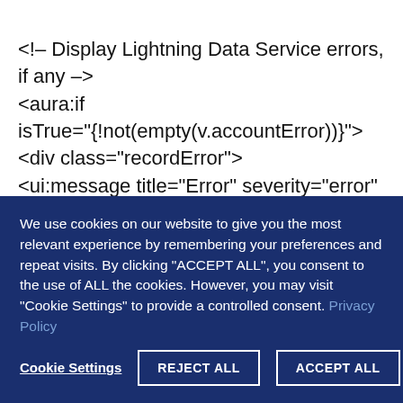<!-- Display Lightning Data Service errors, if any -->
<aura:if
isTrue="{!not(empty(v.accountError))}">
<div class="recordError">
<ui:message title="Error" severity="error"
closable="true">
{!v.accountError}
We use cookies on our website to give you the most relevant experience by remembering your preferences and repeat visits. By clicking "ACCEPT ALL", you consent to the use of ALL the cookies. However, you may visit "Cookie Settings" to provide a controlled consent. Privacy Policy